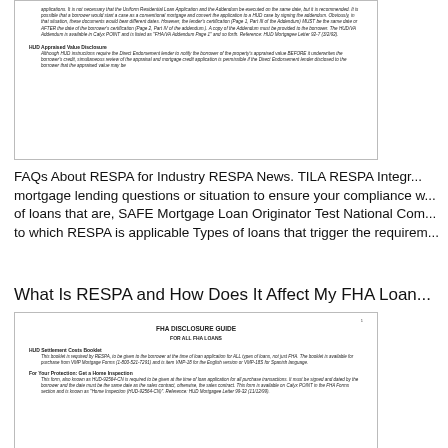[Figure (screenshot): Screenshot of a HUD/FHA document page showing text about HUD/VA Addendum and HUD Appraised Value Disclosure sections]
FAQs About RESPA for Industry RESPA News. TILA RESPA Integr... mortgage lending questions or situation to ensure your compliance w... of loans that are, SAFE Mortgage Loan Originator Test National Com... to which RESPA is applicable Types of loans that trigger the requirem...
What Is RESPA and How Does It Affect My FHA Loan...
[Figure (screenshot): Screenshot of FHA Disclosure Guide document showing sections: HUD Settlement Costs Booklet and For Your Protection: Get a Home Inspection]